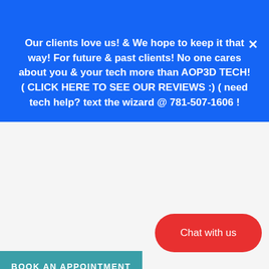[Figure (logo): Website header bar with logo icon in gold/yellow on dark background]
Our clients love us! & We hope to keep it that way! For future & past clients! No one cares about you & your tech more than AOP3D TECH! ( CLICK HERE TO SEE OUR REVIEWS :) ( need tech help? text the wizard @ 781-507-1606 !
BOOK AN APPOINTMENT
Liquid error: Could not find asset snippets/bold-product.liquid
Chat with us